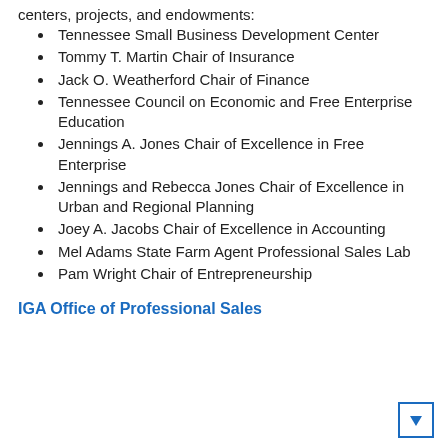centers, projects, and endowments:
Tennessee Small Business Development Center
Tommy T. Martin Chair of Insurance
Jack O. Weatherford Chair of Finance
Tennessee Council on Economic and Free Enterprise Education
Jennings A. Jones Chair of Excellence in Free Enterprise
Jennings and Rebecca Jones Chair of Excellence in Urban and Regional Planning
Joey A. Jacobs Chair of Excellence in Accounting
Mel Adams State Farm Agent Professional Sales Lab
Pam Wright Chair of Entrepreneurship
IGA Office of Professional Sales